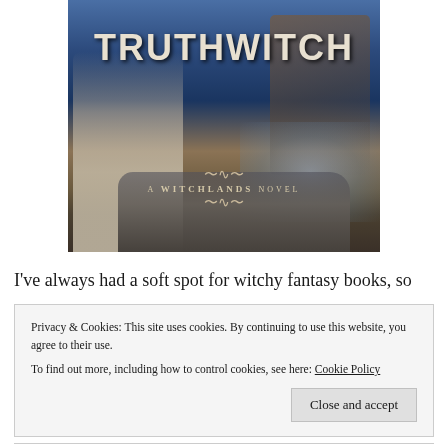[Figure (illustration): Book cover of 'Truthwitch' - A Witchlands Novel, showing two fantasy figures with cloaks and weapons against a rocky, misty background with blue tones]
I've always had a soft spot for witchy fantasy books, so
Privacy & Cookies: This site uses cookies. By continuing to use this website, you agree to their use.
To find out more, including how to control cookies, see here: Cookie Policy

Close and accept